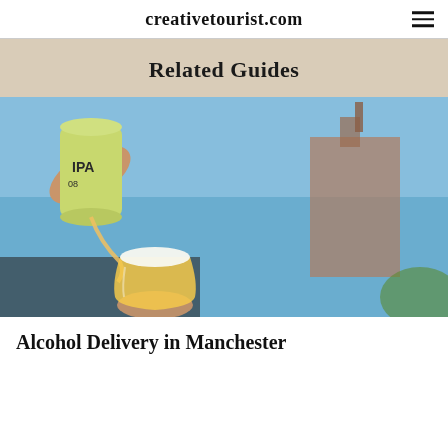creativetourist.com
Related Guides
[Figure (photo): A hand pouring an IPA beer from a green can into a tulip glass held by another hand, with a blurred building and blue sky in the background.]
Alcohol Delivery in Manchester